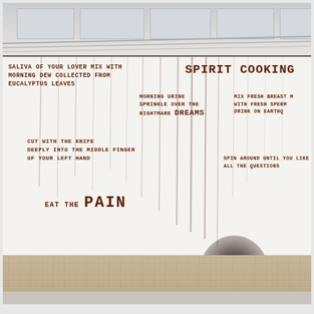[Figure (photo): Photograph of a gallery installation showing a large white wall with text written in what appears to be blood or red-brown liquid. The text reads 'SPIRIT COOKING' in large letters on the right, with various ritual instructions written across the wall including 'SALIVA OF YOUR LOVER MIX WITH MORNING DEW COLLECTED FROM EUCALYPTUS LEAVES', 'MORNING URINE SPRINKLE OVER THE NIGHTMARE DREAMS', 'MIX FRESH BREAST M... WITH FRESH SPERM... DRINK ON EARTHQ...', 'CUT WITH THE KNIFE DEEPLY INTO THE MIDDLE FINGER OF YOUR LEFT HAND', 'SPIN AROUND UNTIL YOU LIKE... ALL THE QUESTIONS...', and 'EAT THE PAIN'. The wall has drips and stains. The floor is a herringbone wood pattern. The ceiling is industrial with exposed ducts.]